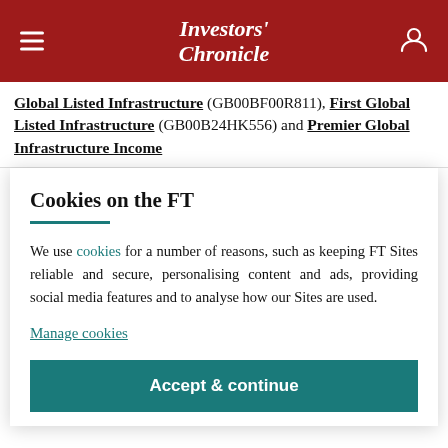Investors' Chronicle
Global Listed Infrastructure (GB00BF00R811), First Global Listed Infrastructure (GB00B24HK556) and Premier Global Infrastructure Income
Cookies on the FT
We use cookies for a number of reasons, such as keeping FT Sites reliable and secure, personalising content and ads, providing social media features and to analyse how our Sites are used.
Manage cookies
Accept & continue